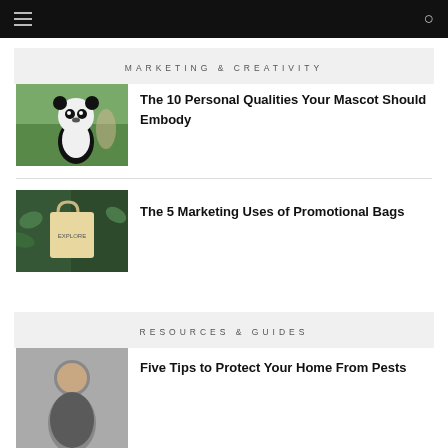MARKETING & CREATIVITY
[Figure (photo): Person in panda mascot costume outdoors]
The 10 Personal Qualities Your Mascot Should Embody
[Figure (photo): Promotional tote bag with Explore logo among green plants]
The 5 Marketing Uses of Promotional Bags
RESOURCES & GUIDES
[Figure (photo): Person portrait photo]
Five Tips to Protect Your Home From Pests